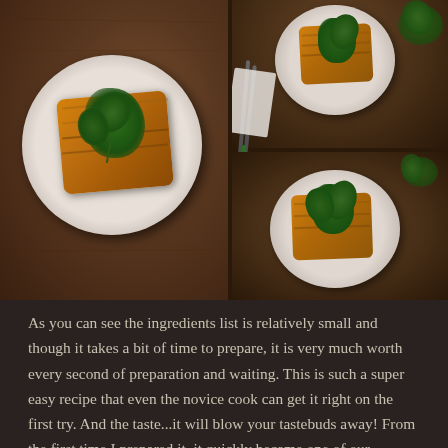[Figure (photo): Two-panel food photograph of phyllo pastry (spanakopita-style) slices served on white plates, garnished with fresh herbs. Left panel shows a single large slice overhead on a white round plate on a dark wooden surface. Right panel shows two plates with similar slices from a slightly elevated angle, with cutlery and a napkin visible.]
As you can see the ingredients list is relatively small and though it takes a bit of time to prepare, it is very much worth every second of preparation and waiting. This is such a super easy recipe that even the novice cook can get it right on the first try. And the taste...it will blow your tastebuds away! From the first time I prepared it, it quickly became one of our favourite